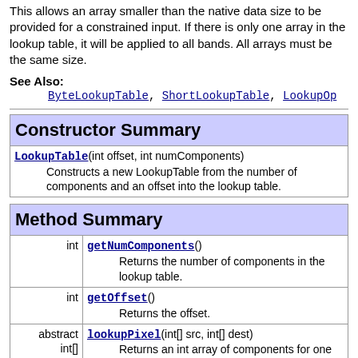This allows an array smaller than the native data size to be provided for a constrained input. If there is only one array in the lookup table, it will be applied to all bands. All arrays must be the same size.
See Also:
ByteLookupTable, ShortLookupTable, LookupOp
| Constructor Summary |
| --- |
| LookupTable(int offset, int numComponents)
          Constructs a new LookupTable from the number of components and an offset into the lookup table. |
| Method Summary |
| --- |
| int | getNumComponents()
          Returns the number of components in the lookup table. |
| int | getOffset()
          Returns the offset. |
| abstract int[] | lookupPixel(int[] src, int[] dest)
          Returns an int array of components for one pixel. |